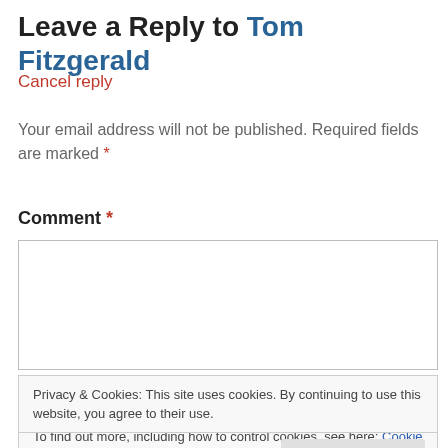Leave a Reply to Tom Fitzgerald
Cancel reply
Your email address will not be published. Required fields are marked *
Comment *
Privacy & Cookies: This site uses cookies. By continuing to use this website, you agree to their use. To find out more, including how to control cookies, see here: Cookie Policy
Close and accept